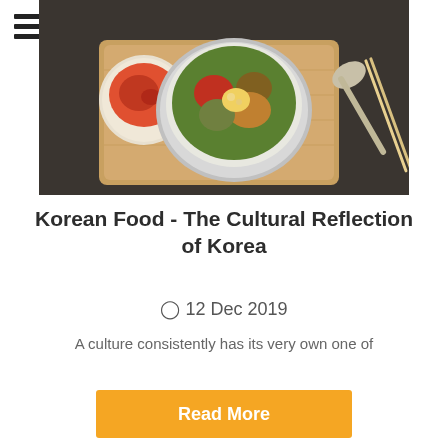[Figure (photo): Photo of Korean bibimbap in a metal bowl on a wooden board, with kimchi in a small bowl on the side, and chopsticks and a spoon on the right]
Korean Food - The Cultural Reflection of Korea
⊙ 12 Dec 2019
A culture consistently has its very own one of
Read More
[Figure (photo): Photo of Korean food dishes with red soup/stew and noodle dishes from overhead]